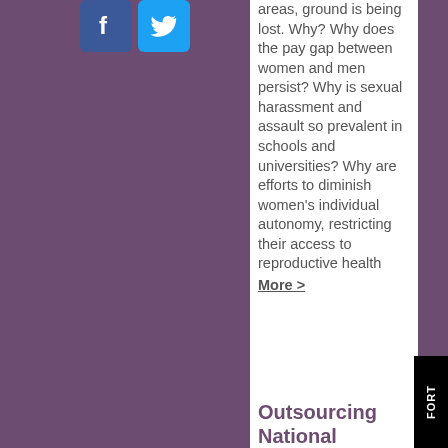[Figure (logo): Facebook logo icon (blue rounded square with white f)]
[Figure (logo): Twitter logo icon (blue rounded square with white bird)]
areas, ground is being lost. Why? Why does the pay gap between women and men persist? Why is sexual harassment and assault so prevalent in schools and universities? Why are efforts to diminish women's individual autonomy, restricting their access to reproductive health
More >
Outsourcing National
[Figure (logo): Black rectangle with white text 'FORT' (partial, cropped)]